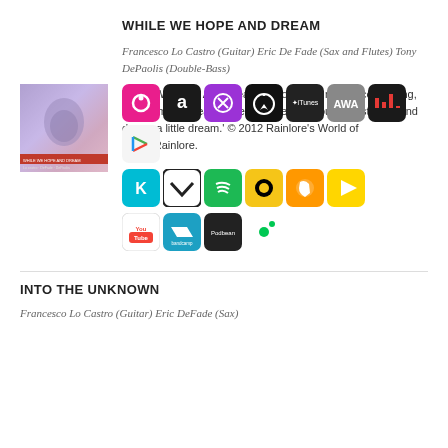WHILE WE HOPE AND DREAM
Francesco Lo Castro (Guitar) Eric De Fade (Sax and Flutes) Tony DePaolis (Double-Bass)
'While We Hope And Dream is more than merely compelling, its charm and beauty keeping one spellbound. Just relax and dream a little dream.' © 2012 Rainlore's World of Music/Rainlore.
[Figure (logo): Album art for While We Hope And Dream]
[Figure (infographic): Music streaming platform icons: Anghami, Amazon Music, Napster, Apple Music, iTunes, AWA, 7digital, Google Play, Kkbox, Vox, Spotify, Resso, Qobuz, Kwai, YouTube, Bandcamp, Podomatic, Simplecast]
INTO THE UNKNOWN
Francesco Lo Castro (Guitar) Eric DeFade (Sax)